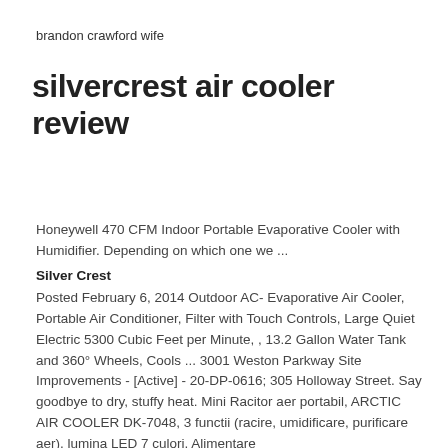brandon crawford wife
silvercrest air cooler review
Honeywell 470 CFM Indoor Portable Evaporative Cooler with Humidifier. Depending on which one we ...
Silver Crest
Posted February 6, 2014 Outdoor AC- Evaporative Air Cooler, Portable Air Conditioner, Filter with Touch Controls, Large Quiet Electric 5300 Cubic Feet per Minute, , 13.2 Gallon Water Tank and 360° Wheels, Cools ... 3001 Weston Parkway Site Improvements - [Active] - 20-DP-0616; 305 Holloway Street. Say goodbye to dry, stuffy heat. Mini Racitor aer portabil, ARCTIC AIR COOLER DK-7048, 3 functii (racire, umidificare, purificare aer), lumina LED 7 culori, Alimentare